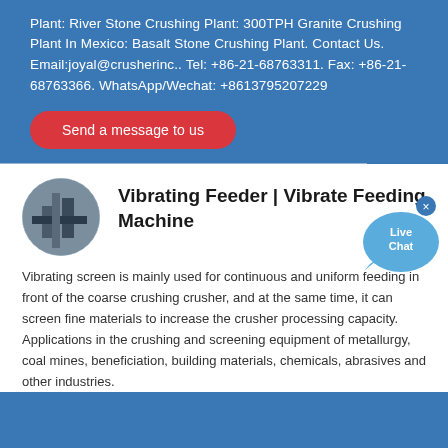Plant: River Stone Crushing Plant: 300TPH Granite Crushing Plant In Mexico: Basalt Stone Crushing Plant. Contact Us. Email:joyal@crusherinc.. Tel: +86-21-68763311. Fax: +86-21-68763366. WhatsApp/Wechat: +8613795207229
Send a message to us
[Figure (other): Live Chat bubble icon in blue on the right side]
[Figure (photo): Circular thumbnail photo of industrial crushing machinery]
Vibrating Feeder | Vibrate Feeding Machine
Vibrating screen is mainly used for continuous and uniform feeding in front of the coarse crushing crusher, and at the same time, it can screen fine materials to increase the crusher processing capacity. Applications in the crushing and screening equipment of metallurgy, coal mines, beneficiation, building materials, chemicals, abrasives and other industries.